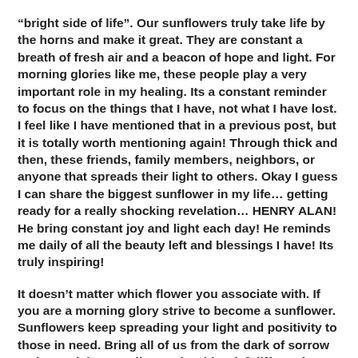“bright side of life”. Our sunflowers truly take life by the horns and make it great. They are constant a breath of fresh air and a beacon of hope and light. For morning glories like me, these people play a very important role in my healing. Its a constant reminder to focus on the things that I have, not what I have lost. I feel like I have mentioned that in a previous post, but it is totally worth mentioning again! Through thick and then, these friends, family members, neighbors, or anyone that spreads their light to others. Okay I guess I can share the biggest sunflower in my life… getting ready for a really shocking revelation… HENRY ALAN! He bring constant joy and light each day! He reminds me daily of all the beauty left and blessings I have! Its truly inspiring!
It doesn’t matter which flower you associate with. If you are a morning glory strive to become a sunflower. Sunflowers keep spreading your light and positivity to those in need. Bring all of us from the dark of sorrow and negativity. We all grapple with grief differently. There is not wrong or right way of doing it.